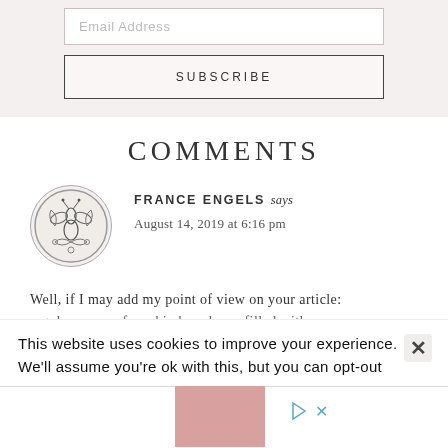Email Address
SUBSCRIBE
COMMENTS
FRANCE ENGELS says
August 14, 2019 at 6:16 pm
Well, if I may add my point of view on your article:
regular serums from bio brands are filled with
This website uses cookies to improve your experience. We'll assume you're ok with this, but you can opt-out
[Figure (illustration): Decorative circular bee/insect motif logo used as commenter avatar]
[Figure (illustration): Pink advertisement box at bottom of page with play/ad icon]